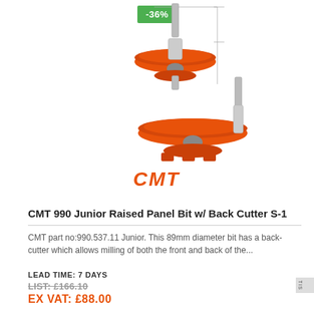[Figure (photo): CMT 990 Junior Raised Panel Bit with Back Cutter S-1 product photo showing two router bits with orange disc cutters and a technical line drawing with dimension lines. Green badge showing -36% discount in top left of image area.]
CMT 990 Junior Raised Panel Bit w/ Back Cutter S-1
CMT part no:990.537.11 Junior. This 89mm diameter bit has a back-cutter which allows milling of both the front and back of the...
LEAD TIME: 7 DAYS
LIST: £166.10
EX VAT: £88.00